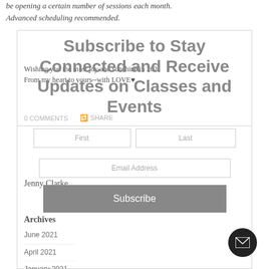be opening a certain number of sessions each month. Advanced scheduling recommended.
Wishing you the most joy and sunshine in 2021
From my heart to yours--with LOVE♥
0 COMMENTS   SHARE
Jenny Clarke
Archives
June 2021
April 2021
January 2021
December 2020
Subscribe to Stay Connected and Receive Updates on Classes and Events
First | Last | Email Address | Subscribe